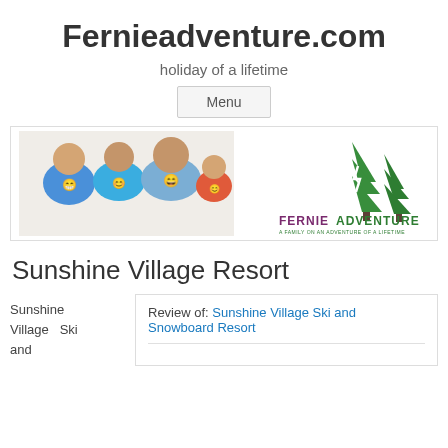Fernieadventure.com
holiday of a lifetime
Menu
[Figure (illustration): Banner image showing a family of four lying down smiling on the left, and on the right the Fernie Adventure logo with two green pine trees and text 'FERNIE ADVENTURE / A FAMILY ON AN ADVENTURE OF A LIFETIME']
Sunshine Village Resort
Sunshine Village Ski and
Review of: Sunshine Village Ski and Snowboard Resort